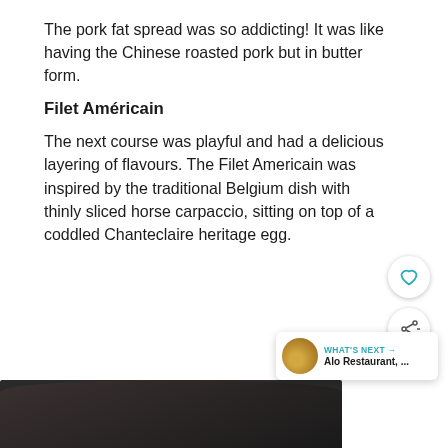The pork fat spread was so addicting! It was like having the Chinese roasted pork but in butter form.
Filet Américain
The next course was playful and had a delicious layering of flavours. The Filet Americain was inspired by the traditional Belgium dish with thinly sliced horse carpaccio, sitting on top of a coddled Chanteclaire heritage egg.
[Figure (photo): Dark circular plate or dish visible at bottom of page]
WHAT'S NEXT → Alo Restaurant, ...